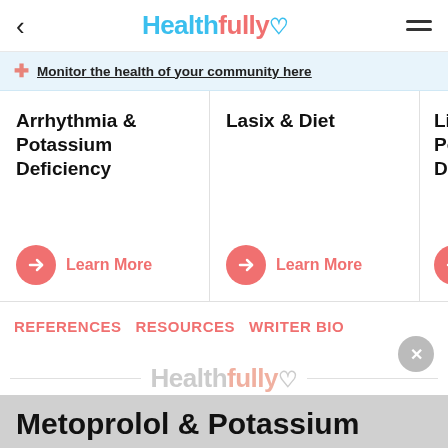Healthfully
Monitor the health of your community here
Arrhythmia & Potassium Deficiency — Learn More
Lasix & Diet — Learn More
Lisinopril & Potassium Diet — Learn More
REFERENCES   RESOURCES   WRITER BIO
[Figure (logo): Healthfully logo watermark in light gray]
Metoprolol & Potassium